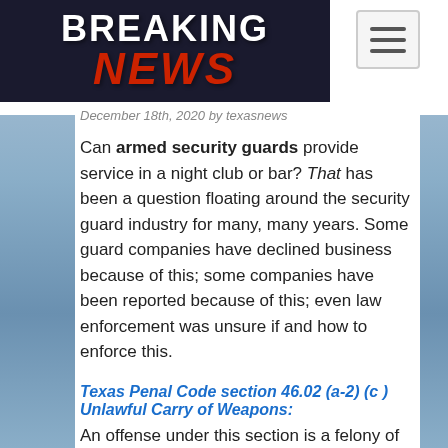[Figure (logo): Breaking News logo with dark background, white BREAKING text and red italic NEWS text]
December 18th, 2020 by texasnews
Can armed security guards provide service in a night club or bar? That has been a question floating around the security guard industry for many, many years. Some guard companies have declined business because of this; some companies have been reported because of this; even law enforcement was unsure if and how to enforce this.
Texas Penal Code section 46.02 (a-2) (c ) Unlawful Carry of Weapons:
An offense under this section is a felony of the third degree if the offense is committed on any premises licensed or issued a permit by this state for the sale of alcoholic beverages.
However…
According to Merideth Muñoz, TABC Information Officer, the following